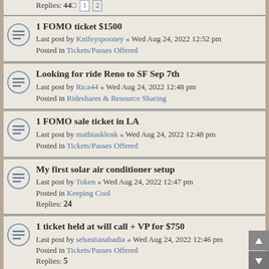Replies: 44  1 2
1 FOMO ticket $1500
Last post by Knifeyspooney « Wed Aug 24, 2022 12:52 pm
Posted in Tickets/Passes Offered
Looking for ride Reno to SF Sep 7th
Last post by Rica44 « Wed Aug 24, 2022 12:48 pm
Posted in Rideshares & Resource Sharing
1 FOMO sale ticket in LA
Last post by mathiasklenk « Wed Aug 24, 2022 12:48 pm
Posted in Tickets/Passes Offered
My first solar air conditioner setup
Last post by Token « Wed Aug 24, 2022 12:47 pm
Posted in Keeping Cool
Replies: 24
1 ticket held at will call + VP for $750
Last post by sebastianabadia « Wed Aug 24, 2022 12:46 pm
Posted in Tickets/Passes Offered
Replies: 5